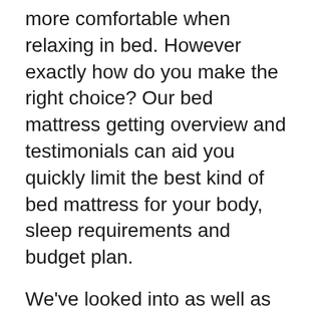more comfortable when relaxing in bed. However exactly how do you make the right choice? Our bed mattress getting overview and testimonials can aid you quickly limit the best kind of bed mattress for your body, sleep requirements and budget plan.
We've looked into as well as ranked the current bed mattress throughout all key areas including comfort, support, stress relief, activity isolation and temperature level policy. In this guide we talk you with each of our selected mattresses and describe why they are the best at what they do (as well as how we have actually arrived at these conclusions), and additionally mention any type of disadvantages as well as who the bed mattress would not fit.